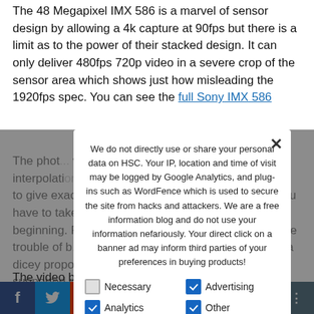The 48 Megapixel IMX 586 is a marvel of sensor design by allowing a 4k capture at 90fps but there is a limit as to the power of their stacked design. It can only deliver 480fps 720p video in a severe crop of the sensor area which shows just how misleading the 1920fps spec. You can see the full Sony IMX 586...
The phone... which is also a misleading one as... interpolation or just slowing down the playback by 4x to give exactly 1/4... it is also common for Chinese phones... you have to take them with a big grain of salt since the beginning. Reviewers that... an import also have the trouble of... Google Play store app support so it is a dicey proposition until Google approves it as a supported device.
We do not directly use or share your personal data on HSC. Your IP, location and time of visit may be logged by Google Analytics, and plug-ins such as WordFence which is used to secure the site from hacks and attackers. We are a free information blog and do not use your information nefariously. Your direct click on a banner ad may inform third parties of your preferences in buying products!
Necessary
Advertising
Analytics
Other
Privacy Preferences
I Agree
The video below by TechM... shows the frame rate